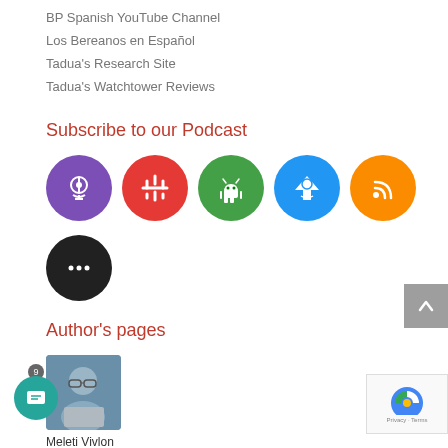BP Spanish YouTube Channel
Los Bereanos en Español
Tadua's Research Site
Tadua's Watchtower Reviews
Subscribe to our Podcast
[Figure (infographic): Row of circular podcast subscription icons: purple Apple Podcasts, red Google Podcasts, green Android/Antenna Pod, blue email/newsletter icon, orange RSS feed icon, and black more options icon below.]
Author's pages
[Figure (photo): Photo of Meleti Vivlon, a man with glasses and gray hair.]
Meleti Vivlon